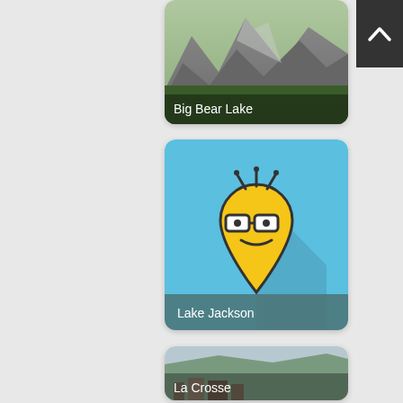[Figure (photo): Mountain landscape photo card labeled Big Bear Lake]
[Figure (illustration): App icon with blue background showing a cartoon location pin with glasses and smile, labeled Lake Jackson]
[Figure (photo): Cityscape with hills in background labeled La Crosse]
[Figure (other): Dark charcoal button with white upward chevron arrow (back to top button)]